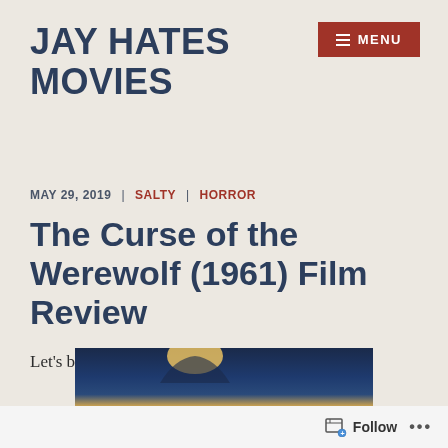JAY HATES MOVIES
≡ MENU
MAY 29, 2019  |  SALTY  |  HORROR
The Curse of the Werewolf (1961) Film Review
Let's bark at the moon.
[Figure (photo): Partial view of a movie poster or still from The Curse of the Werewolf (1961), showing dark blue tones with golden/yellow elements at the bottom.]
Follow  ...